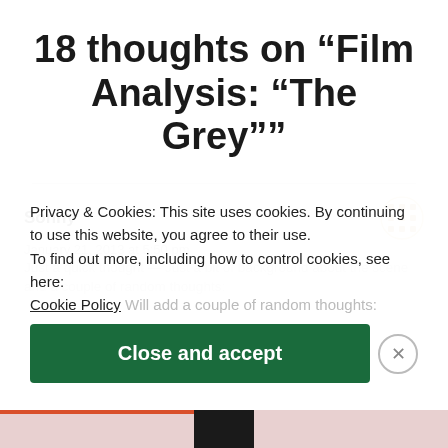18 thoughts on “Film Analysis: “The Grey””
Sonny
January 21, 2013 at 5:50 pm
Privacy & Cookies: This site uses cookies. By continuing to use this website, you agree to their use.
To find out more, including how to control cookies, see here:
Cookie Policy     Will add a couple of random thoughts:
Close and accept